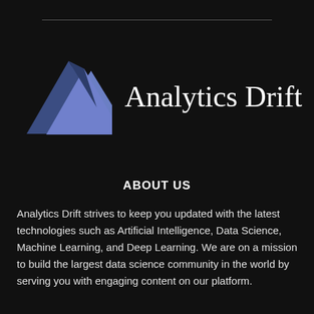[Figure (logo): Analytics Drift logo: two overlapping triangles (mountain shapes) in dark blue and lighter blue/periwinkle, with the text 'Analytics Drift' in serif font to the right]
ABOUT US
Analytics Drift strives to keep you updated with the latest technologies such as Artificial Intelligence, Data Science, Machine Learning, and Deep Learning. We are on a mission to build the largest data science community in the world by serving you with engaging content on our platform.